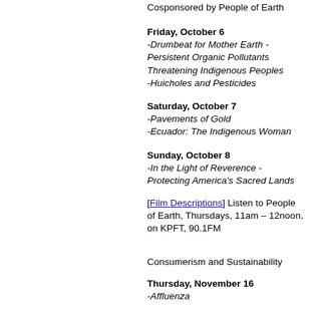Cosponsored by People of Earth
Friday, October 6
-Drumbeat for Mother Earth - Persistent Organic Pollutants Threatening Indigenous Peoples
-Huicholes and Pesticides
Saturday, October 7
-Pavements of Gold
-Ecuador: The Indigenous Woman
Sunday, October 8
-In the Light of Reverence - Protecting America's Sacred Lands
[Film Descriptions] Listen to People of Earth, Thursdays, 11am – 12noon, on KPFT, 90.1FM
Consumerism and Sustainability
Thursday, November 16
-Affluenza